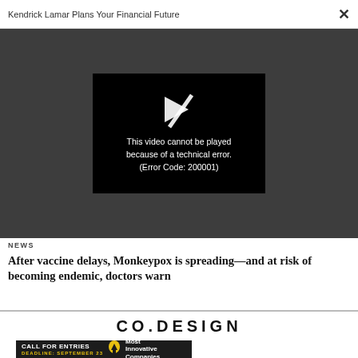Kendrick Lamar Plans Your Financial Future
[Figure (screenshot): Video player showing error message: 'This video cannot be played because of a technical error. (Error Code: 200001)']
NEWS
After vaccine delays, Monkeypox is spreading—and at risk of becoming endemic, doctors warn
[Figure (logo): CO.DESIGN logo in bold uppercase letters]
[Figure (infographic): Advertisement banner: CALL FOR ENTRIES, DEADLINE: SEPTEMBER 23, Most Innovative Companies]